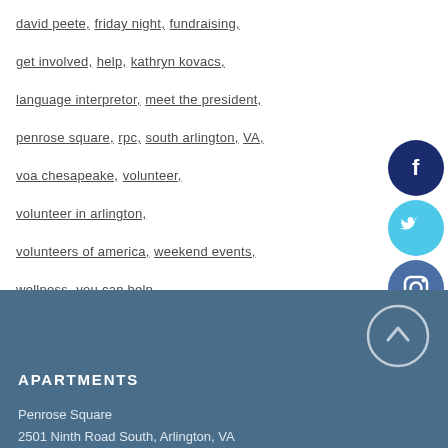david peete, friday night, fundraising,
get involved, help, kathryn kovacs,
language interpretor, meet the president,
penrose square, rpc, south arlington, VA,
voa chesapeake, volunteer,
volunteer in arlington,
volunteers of america, weekend events,
wellness, you can help
[Figure (other): Social media icons: Facebook (dark blue circle), Twitter (light blue circle), Instagram (blue-grey circle)]
APARTMENTS
Penrose Square
2501 Ninth Road South, Arlington, VA